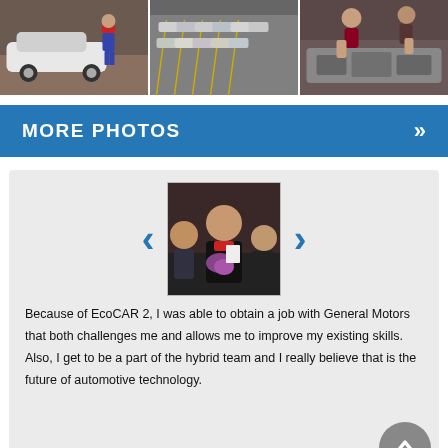[Figure (photo): Three photos in a horizontal strip: left shows a person standing next to a white car in a garage; center shows an aerial view of a parking lot with cars lined up; right shows two people working on a car engine/mechanical component.]
MORE PHOTOS »
[Figure (photo): A woman in graduation attire holding flowers, smiling with other people around her, displayed in a carousel interface with left and right navigation arrows.]
Because of EcoCAR 2, I was able to obtain a job with General Motors that both challenges me and allows me to improve my existing skills.  Also, I get to be a part of the hybrid team and I really believe that is the future of automotive technology.